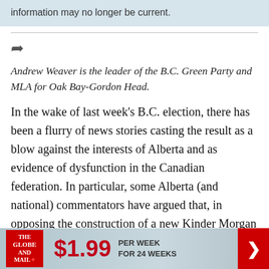information may no longer be current.
Andrew Weaver is the leader of the B.C. Green Party and MLA for Oak Bay-Gordon Head.
In the wake of last week's B.C. election, there has been a flurry of news stories casting the result as a blow against the interests of Alberta and as evidence of dysfunction in the Canadian federation. In particular, some Alberta (and national) commentators have argued that, in opposing the construction of a new Kinder Morgan Trans
[Figure (infographic): Advertisement banner: The Globe and Mail logo, $1.99 PER WEEK FOR 24 WEEKS, with red arrow button]